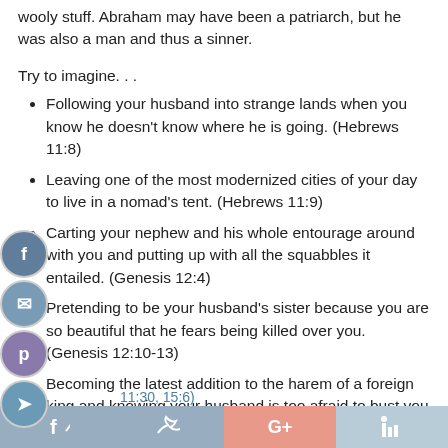wooly stuff. Abraham may have been a patriarch, but he was also a man and thus a sinner.
Try to imagine. . .
Following your husband into strange lands when you know he doesn't know where he is going. (Hebrews 11:8)
Leaving one of the most modernized cities of your day to live in a nomad's tent. (Hebrews 11:9)
Carting your nephew and his whole entourage around with you and putting up with all the squabbles it entailed. (Genesis 12:4)
Pretending to be your husband's sister because you are so beautiful that he fears being killed over you. (Genesis 12:10-13)
Becoming the latest addition to the harem of a foreign king and knowing your husband is too afraid to bust you out. (Genesis 12:14-16)
Grieving over your barrenness and knowing that your husband firmly believes that he will have a child. (Genesis 11:30, 15:6)
11:30, 15:6)